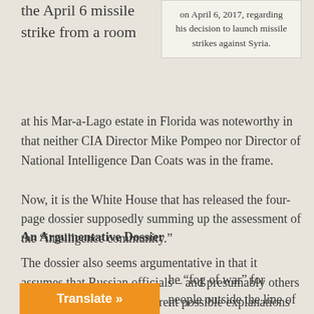the April 6 missile strike from a room
on April 6, 2017, regarding his decision to launch missile strikes against Syria.
at his Mar-a-Lago estate in Florida was noteworthy in that neither CIA Director Mike Pompeo nor Director of National Intelligence Dan Coats was in the frame.
Now, it is the White House that has released the four-page dossier supposedly summing up the assessment of the “intelligence community.”
An Argumentative Dossier
The dossier also seems argumentative in that it assumes that Russian officials – and presumably others – who have suggested different possible explanations for the incident at Khan Sheikdoun did so in a willful cover-up, when any normal investigation seeks to evaluate different scenarios before settling on one.
he “fog of war” for people outside the line of